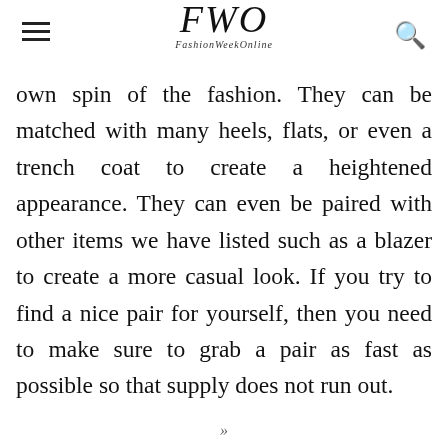FWO FashionWeekOnline
own spin of the fashion. They can be matched with many heels, flats, or even a trench coat to create a heightened appearance. They can even be paired with other items we have listed such as a blazer to create a more casual look. If you try to find a nice pair for yourself, then you need to make sure to grab a pair as fast as possible so that supply does not run out.
»